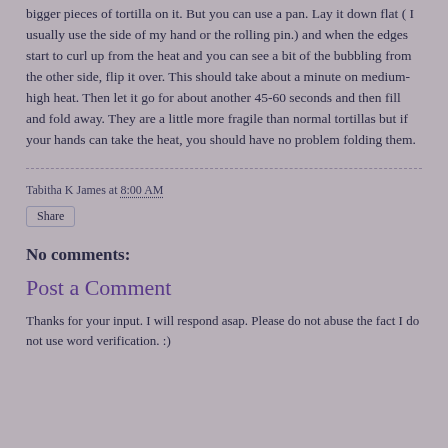bigger pieces of tortilla on it. But you can use a pan. Lay it down flat ( I usually use the side of my hand or the rolling pin.) and when the edges start to curl up from the heat and you can see a bit of the bubbling from the other side, flip it over. This should take about a minute on medium-high heat. Then let it go for about another 45-60 seconds and then fill and fold away. They are a little more fragile than normal tortillas but if your hands can take the heat, you should have no problem folding them.
Tabitha K James at 8:00 AM
Share
No comments:
Post a Comment
Thanks for your input. I will respond asap. Please do not abuse the fact I do not use word verification. :)